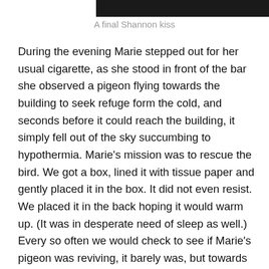[Figure (photo): Partial photograph visible at top of page, dark/black image likely showing people]
A final Shannon kiss
During the evening Marie stepped out for her usual cigarette, as she stood in front of the bar she observed a pigeon flying towards the building to seek refuge form the cold, and seconds before it could reach the building, it simply fell out of the sky succumbing to hypothermia. Marie's mission was to rescue the bird. We got a box, lined it with tissue paper and gently placed it in the box. It did not even resist. We placed it in the back hoping it would warm up. (It was in desperate need of sleep as well.) Every so often we would check to see if Marie's pigeon was reviving, it barely was, but towards the end of the night was fluffing itself up, a hopeful sign. As a final act of kindness, Meres and Marie took the pigeon to their garage to let it warm up and revive. Two days later it flew